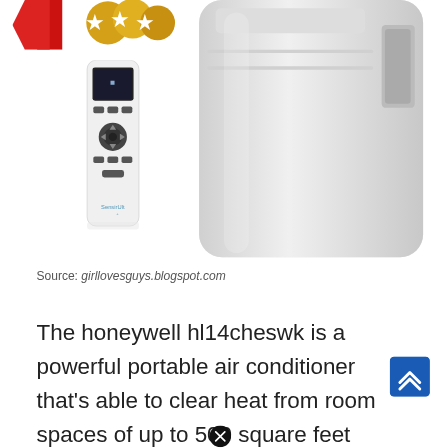[Figure (photo): Photo of a white portable air conditioner unit (Honeywell HL14CHESWK) on the right side and a white remote control with dark display and buttons (SensirUlt branded) on the lower left. A close/dismiss button (black circle with X) appears near the top center and another near the bottom center.]
Source: girllovesguys.blogspot.com
The honeywell hl14cheswk is a powerful portable air conditioner that's able to clear heat from room spaces of up to 500 square feet thanks to its 1,20 of power that's good for 14,000 btu. To buy your